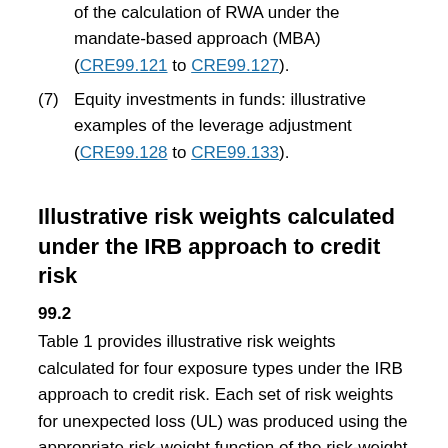of the calculation of RWA under the mandate-based approach (MBA) (CRE99.121 to CRE99.127).
(7) Equity investments in funds: illustrative examples of the leverage adjustment (CRE99.128 to CRE99.133).
Illustrative risk weights calculated under the IRB approach to credit risk
99.2
Table 1 provides illustrative risk weights calculated for four exposure types under the IRB approach to credit risk. Each set of risk weights for unexpected loss (UL) was produced using the appropriate risk-weight function of the risk-weight functions set out in CRE31. The inputs used to calculate the illustrative risk